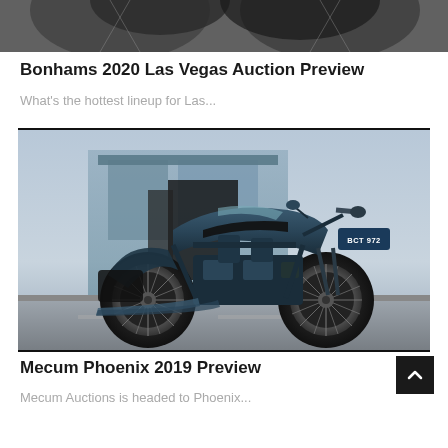[Figure (photo): Partial view of vintage motorcycle from above, black and white]
Bonhams 2020 Las Vegas Auction Preview
What's the hottest lineup for Las...
[Figure (photo): Vintage motorcycle (license plate BCT 972) parked on street in front of building, color photo]
Mecum Phoenix 2019 Preview
Mecum Auctions is headed to Phoenix...